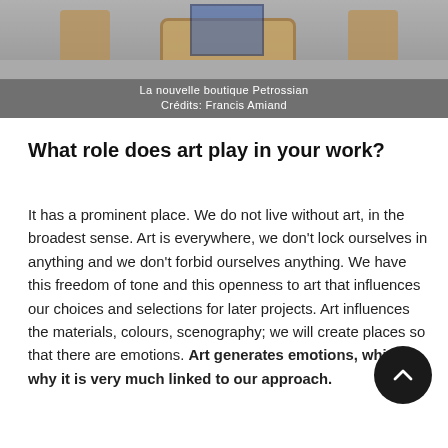[Figure (photo): Interior photo of La nouvelle boutique Petrossian showing wooden furniture and decorative elements, with a caption overlay reading 'La nouvelle boutique Petrossian' and 'Crédits: Francis Amiand']
What role does art play in your work?
It has a prominent place. We do not live without art, in the broadest sense. Art is everywhere, we don't lock ourselves in anything and we don't forbid ourselves anything. We have this freedom of tone and this openness to art that influences our choices and selections for later projects. Art influences the materials, colours, scenography; we will create places so that there are emotions. Art generates emotions, which is why it is very much linked to our approach.